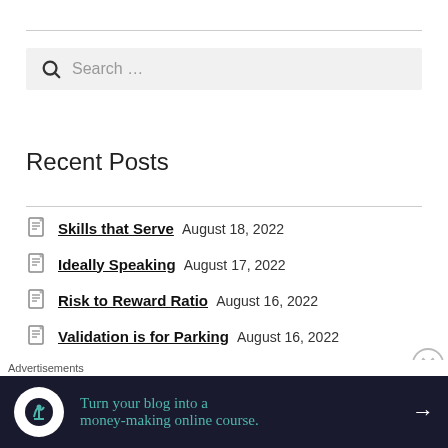[Figure (screenshot): Search bar with magnifying glass icon and placeholder text 'Search ...' on a light grey background]
Recent Posts
Skills that Serve August 18, 2022
Ideally Speaking August 17, 2022
Risk to Reward Ratio August 16, 2022
Validation is for Parking August 16, 2022
The Truth About Obstacles August 12, 2022
Advertisements
[Figure (infographic): Ad banner: dark background with white circle icon, teal text 'Turn your blog into a money-making online course.' and white arrow]